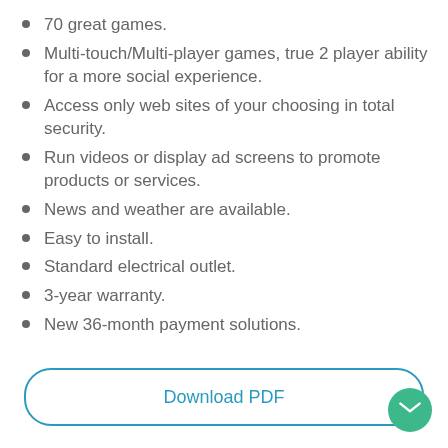70 great games.
Multi-touch/Multi-player games, true 2 player ability for a more social experience.
Access only web sites of your choosing in total security.
Run videos or display ad screens to promote products or services.
News and weather are available.
Easy to install.
Standard electrical outlet.
3-year warranty.
New 36-month payment solutions.
Download PDF